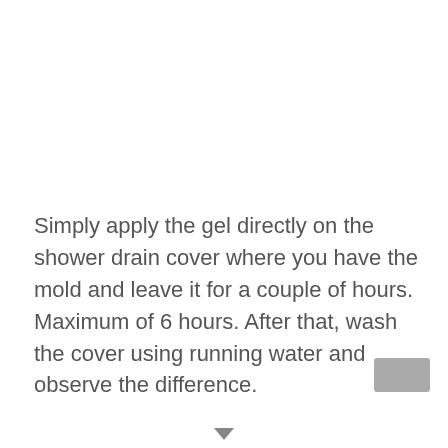Simply apply the gel directly on the shower drain cover where you have the mold and leave it for a couple of hours. Maximum of 6 hours. After that, wash the cover using running water and observe the difference.